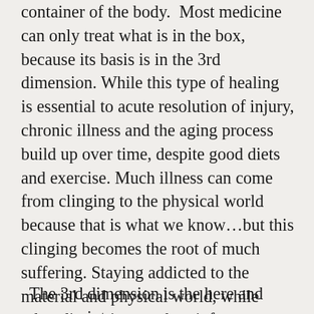container of the body. Most medicine can only treat what is in the box, because its basis is in the 3rd dimension. While this type of healing is essential to acute resolution of injury, chronic illness and the aging process build up over time, despite good diets and exercise. Much illness can come from clinging to the physical world because that is what we know…but this clinging becomes the root of much suffering. Staying addicted to the material and physical world, while other dimensions seek to inform us, can result in illness building over time that medicine will fail to heal.
The 3rd dimension is the here and now, a point